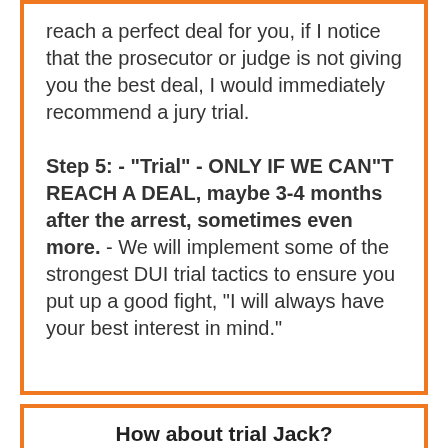reach a perfect deal for you, if I notice that the prosecutor or judge is not giving you the best deal, I would immediately recommend a jury trial.

Step 5:  - "Trial" - ONLY IF WE CAN"T REACH A DEAL, maybe 3-4 months after the arrest, sometimes even more. - We will implement some of the strongest DUI trial tactics to ensure you put up a good fight, "I will always have your best interest in mind."
How about trial Jack?
Going to trial is an extremely valuable tool in our disposal if we see significant flaws in the case and the opposition is not acting